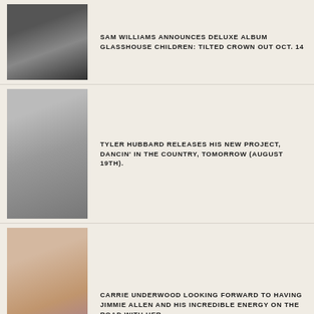SAM WILLIAMS ANNOUNCES DELUXE ALBUM GLASSHOUSE CHILDREN: TILTED CROWN OUT OCT. 14
TYLER HUBBARD RELEASES HIS NEW PROJECT, DANCIN' IN THE COUNTRY, TOMORROW (AUGUST 19TH).
CARRIE UNDERWOOD LOOKING FORWARD TO HAVING JIMMIE ALLEN AND HIS INCREDIBLE ENERGY ON THE ROAD WITH HER.
KEITH URBAN LOVES TYLER HUBBARD'S VIBE.
LUKE BRYAN RELEASES VIDEO FOR NEW SONG "COUNTRY ON."